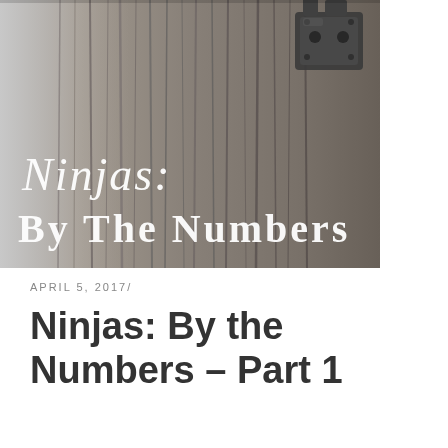[Figure (photo): Black and white photograph of weathered wooden planks/door with a metal hinge or lock hardware visible in the upper right. Overlaid with decorative script text 'Ninjas:' and large serif text 'By The Numbers' in white.]
APRIL 5, 2017/
Ninjas: By the Numbers – Part 1